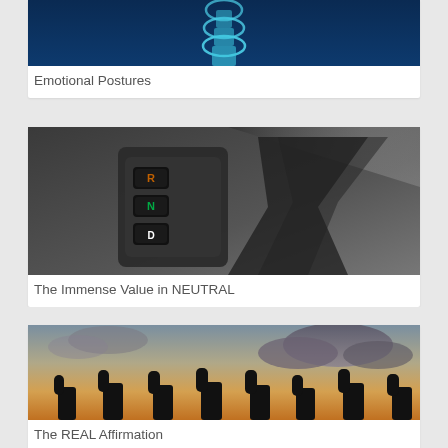[Figure (photo): Blue spine/vertebrae medical image on dark blue background (cropped, showing bottom portion)]
Emotional Postures
[Figure (photo): Close-up of car gear shift showing R, N, D positions with dark background]
The Immense Value in NEUTRAL
[Figure (photo): Silhouettes of multiple hands giving thumbs up against a dramatic cloudy sunset sky]
The REAL Affirmation